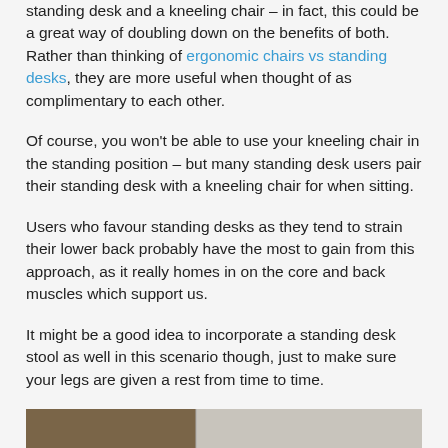standing desk and a kneeling chair – in fact, this could be a great way of doubling down on the benefits of both. Rather than thinking of ergonomic chairs vs standing desks, they are more useful when thought of as complimentary to each other.
Of course, you won't be able to use your kneeling chair in the standing position – but many standing desk users pair their standing desk with a kneeling chair for when sitting.
Users who favour standing desks as they tend to strain their lower back probably have the most to gain from this approach, as it really homes in on the core and back muscles which support us.
It might be a good idea to incorporate a standing desk stool as well in this scenario though, just to make sure your legs are given a rest from time to time.
[Figure (photo): Partial photo showing what appears to be a standing desk or ergonomic furniture setup, split into a darker brown/wood section on the left and a lighter grey/cream section on the right.]